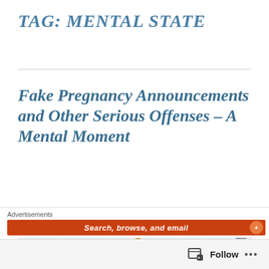TAG: MENTAL STATE
Fake Pregnancy Announcements and Other Serious Offenses – A Mental Moment
[Figure (illustration): A top-down photograph of an open notebook/sketchbook with a grid paper pattern, featuring hand-drawn watercolor clouds in blue and teal, stars in gold/orange, and abstract doodle art. Orange dried flowers or foliage visible in the bottom-left corner.]
Advertisements
Search, browse, and email